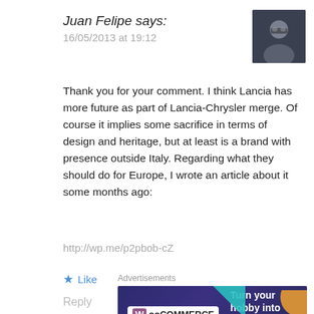Juan Felipe says:
16/05/2013 at 19:12
[Figure (photo): Avatar photo of a man wearing glasses in a dark background]
Thank you for your comment. I think Lancia has more future as part of Lancia-Chrysler merge. Of course it implies some sacrifice in terms of design and heritage, but at least is a brand with presence outside Italy. Regarding what they should do for Europe, I wrote an article about it some months ago:
http://wp.me/p2pbob-cZ
Like
Reply
Advertisements
[Figure (infographic): WooCommerce advertisement banner: Turn your hobby into a business in 8 steps]